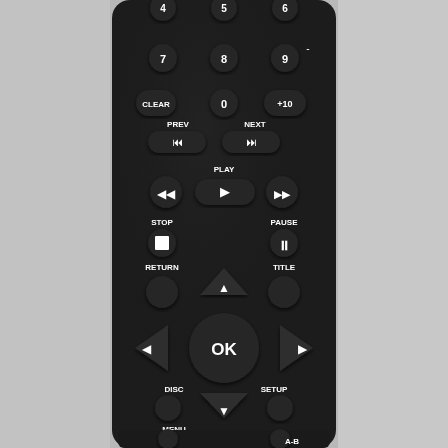[Figure (photo): Close-up photograph of a black DVD/media player remote control showing numeric buttons (7, 8, 9), CLEAR, 0, +10, PREV/NEXT transport buttons, PLAY, rewind, fast-forward, STOP, PAUSE, RETURN, TITLE, directional pad with OK center button, DISC, SETUP, MENU buttons, and A-B button at bottom.]